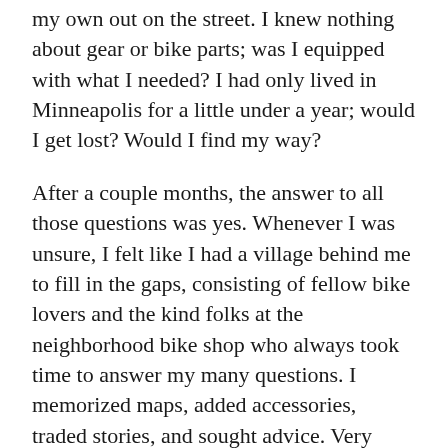my own out on the street. I knew nothing about gear or bike parts; was I equipped with what I needed? I had only lived in Minneapolis for a little under a year; would I get lost? Would I find my way?
After a couple months, the answer to all those questions was yes. Whenever I was unsure, I felt like I had a village behind me to fill in the gaps, consisting of fellow bike lovers and the kind folks at the neighborhood bike shop who always took time to answer my many questions. I memorized maps, added accessories, traded stories, and sought advice. Very soon I found my two wheels carrying me wherever I desired to go, a new layer of confidence cloaking me every time I started pedaling. Living alone during a pandemic, these were the times when the sense of isolation left my headspace. In the confines of a car, the city feels removed, vaguely